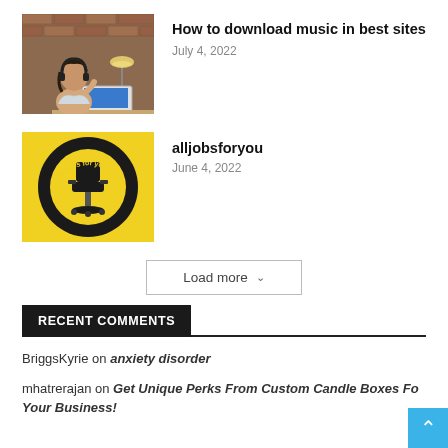[Figure (photo): Woman with headphones listening to music at a desk with a laptop and lamp]
How to download music in best sites
July 4, 2022
[Figure (logo): Yellow and black circular logo reading 'All Jobs for you' with an office chair graphic]
alljobsforyou
June 4, 2022
Load more
RECENT COMMENTS
BriggsKyrie on anxiety disorder
mhatrerajan on Get Unique Perks From Custom Candle Boxes For Your Business!